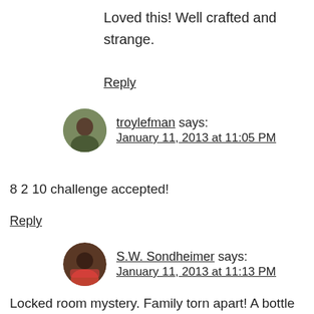Loved this! Well crafted and strange.
Reply
troylefman says: January 11, 2013 at 11:05 PM
8 2 10 challenge accepted!
Reply
S.W. Sondheimer says: January 11, 2013 at 11:13 PM
Locked room mystery. Family torn apart! A bottle of rare whiskey! A new moment with some old friends.